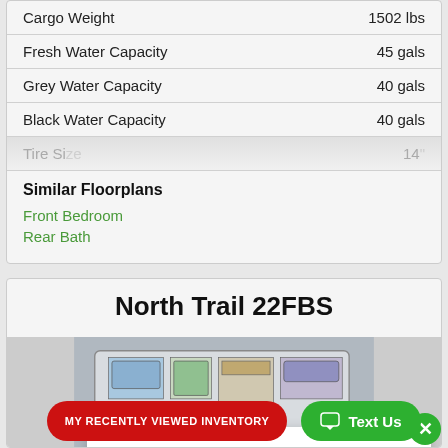| Spec | Value |
| --- | --- |
| Cargo Weight | 1502 lbs |
| Fresh Water Capacity | 45 gals |
| Grey Water Capacity | 40 gals |
| Black Water Capacity | 40 gals |
| Tire Size | 14" |
Similar Floorplans
Front Bedroom
Rear Bath
North Trail 22FBS
[Figure (other): Floorplan layout of North Trail 22FBS trailer]
Have a question? Text us here.
MY RECENTLY VIEWED INVENTORY
Text Us